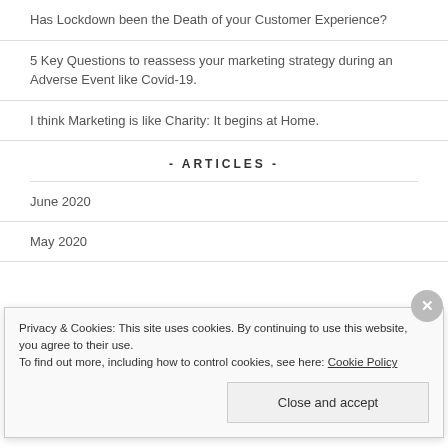Has Lockdown been the Death of your Customer Experience?
5 Key Questions to reassess your marketing strategy during an Adverse Event like Covid-19.
I think Marketing is like Charity: It begins at Home.
- ARTICLES -
June 2020
May 2020
Privacy & Cookies: This site uses cookies. By continuing to use this website, you agree to their use. To find out more, including how to control cookies, see here: Cookie Policy
Close and accept